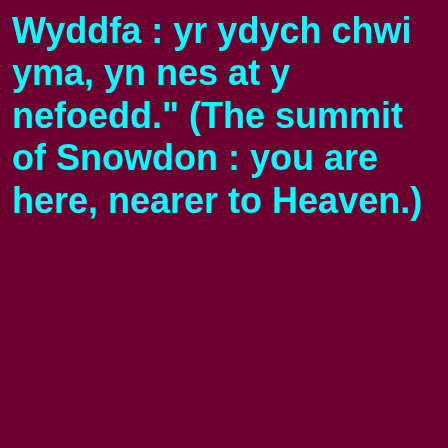Wyddfa : yr ydych chwi yma, yn nes at y nefoedd." (The summit of Snowdon : you are here, nearer to Heaven.)